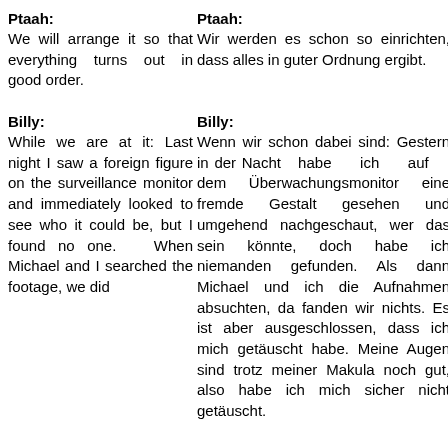Ptaah: We will arrange it so that everything turns out in good order.
Ptaah: Wir werden es schon so einrichten, dass alles in guter Ordnung ergibt.
Billy: While we are at it: Last night I saw a foreign figure on the surveillance monitor and immediately looked to see who it could be, but I found no one. When Michael and I searched the footage, we did
Billy: Wenn wir schon dabei sind: Gestern in der Nacht habe ich auf dem Überwachungsmonitor eine fremde Gestalt gesehen und umgehend nachgeschaut, wer das sein könnte, doch habe ich niemanden gefunden. Als dann Michael und ich die Aufnahmen absuchten, da fanden wir nichts. Es ist aber ausgeschlossen, dass ich mich getäuscht habe. Meine Augen sind trotz meiner Makula noch gut, also habe ich mich sicher nicht getäuscht.